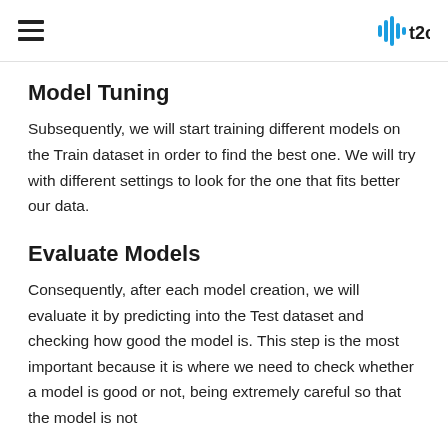≡   |||h t2c
Model Tuning
Subsequently, we will start training different models on the Train dataset in order to find the best one. We will try with different settings to look for the one that fits better our data.
Evaluate Models
Consequently, after each model creation, we will evaluate it by predicting into the Test dataset and checking how good the model is. This step is the most important because it is where we need to check whether a model is good or not, being extremely careful so that the model is not overfitting the data.